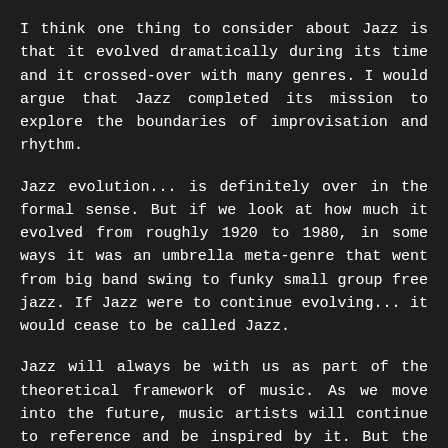I think one thing to consider about Jazz is that it evolved dramatically during its time and it crossed-over with many genres. I would argue that Jazz completed its mission to explore the boundaries of improvisation and rhythm.
Jazz evolution... is definitely over in the formal sense. But if we look at how much it evolved from roughly 1920 to 1980, in some ways it was an umbrella meta-genre that went from big band swing to funky small group free jazz. If Jazz were to continue evolving... it would cease to be called Jazz.
Jazz will always be with us as part of the theoretical framework of music. As we move into the future, music artists will continue to reference and be inspired by it. But the tradition of live big bands and long, back-to-back, small-group soloing is definitely not making a comeback.
Any why should it? Jazz has two main traditions: big band and ensemble swing and small group soloes. Would either of those have a broad resonance right now?